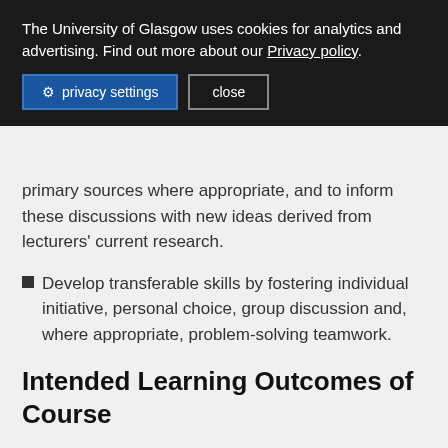The University of Glasgow uses cookies for analytics and advertising. Find out more about our Privacy policy.
privacy settings   close
primary sources where appropriate, and to inform these discussions with new ideas derived from lecturers' current research.
Develop transferable skills by fostering individual initiative, personal choice, group discussion and, where appropriate, problem-solving teamwork.
Intended Learning Outcomes of Course
By the end of this course, students should be able to: